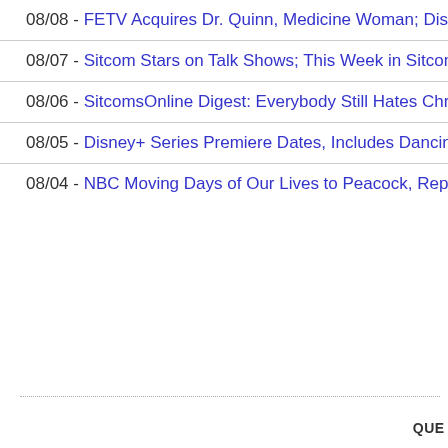08/08 - FETV Acquires Dr. Quinn, Medicine Woman; Disney+ Orders 2nd Se
08/07 - Sitcom Stars on Talk Shows; This Week in Sitcoms (Week of August
08/06 - SitcomsOnline Digest: Everybody Still Hates Chris Animated Series
08/05 - Disney+ Series Premiere Dates, Includes Dancing with the Stars; Ha
08/04 - NBC Moving Days of Our Lives to Peacock, Replacing with News Sh
QUES
RETUR